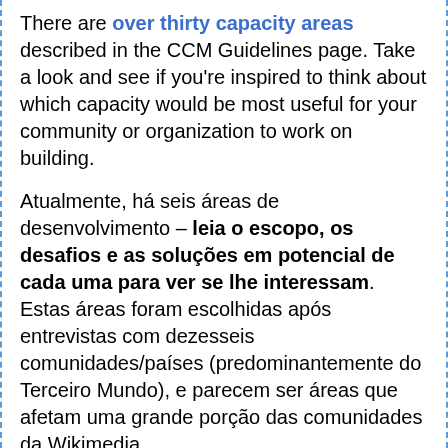There are over thirty capacity areas described in the CCM Guidelines page. Take a look and see if you're inspired to think about which capacity would be most useful for your community or organization to work on building.
Atualmente, há seis áreas de desenvolvimento – leia o escopo, os desafios e as soluções em potencial de cada uma para ver se lhe interessam. Estas áreas foram escolhidas após entrevistas com dezesseis comunidades/países (predominantemente do Terceiro Mundo), e parecem ser áreas que afetam uma grande porção das comunidades da Wikimedia.
Community governance
Conflict management